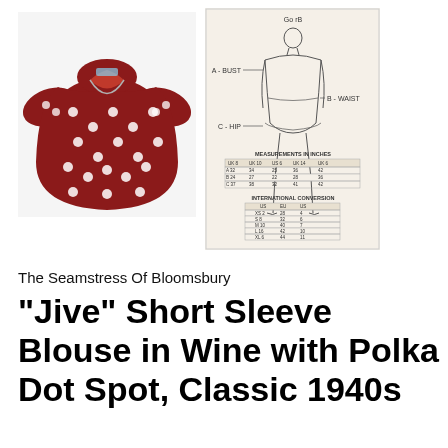[Figure (photo): Red wine-colored short sleeve blouse with white polka dot pattern, displayed on a white background]
[Figure (schematic): Size chart diagram showing a female body outline with measurement points A-BUST, B-WAIST, C-HIP labeled, along with measurement tables in inches and international conversion tables]
The Seamstress Of Bloomsbury
"Jive" Short Sleeve Blouse in Wine with Polka Dot Spot, Classic 1940s